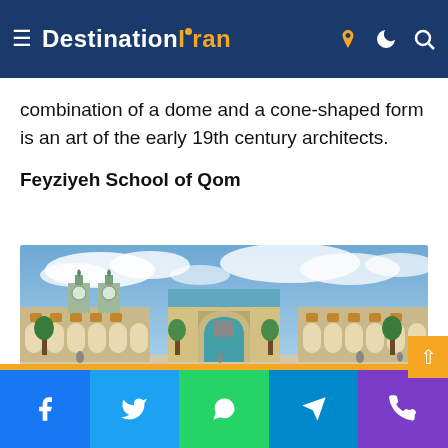DestinationIran
combination of a dome and a cone-shaped form is an art of the early 19th century architects.
Feyziyeh School of Qom
[Figure (photo): Photograph of Feyziyeh School of Qom, showing a large historic Islamic building with ornate tiled facade, arched entrance portal, smaller domed towers with clocks, and colonnaded wings on both sides. People and trees visible in the foreground.]
Facebook | Twitter | WhatsApp | Telegram | Phone